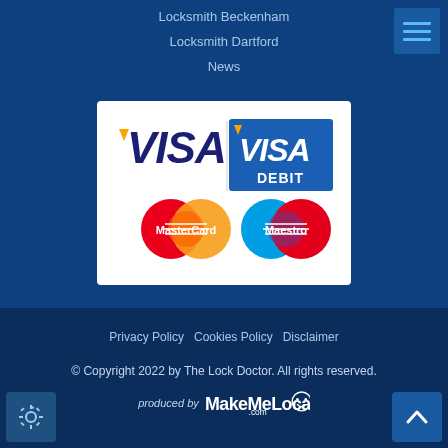Locksmith Beckenham
Locksmith Dartford
News
[Figure (logo): Payment methods logos: VISA, VISA DEBIT, MasterCard, Maestro]
Privacy Policy  Cookies Policy  Disclaimer
© Copyright 2022 by The Lock Doctor. All rights reserved.
produced by MakeMeLocal.com